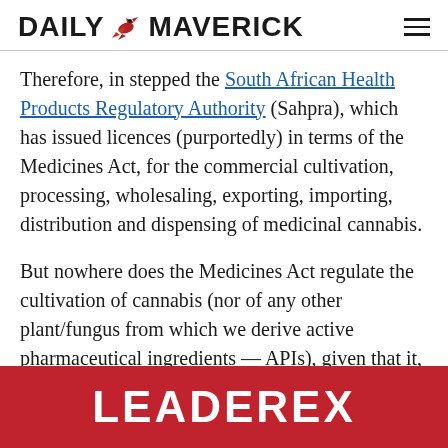DAILY MAVERICK
Therefore, in stepped the South African Health Products Regulatory Authority (Sahpra), which has issued licences (purportedly) in terms of the Medicines Act, for the commercial cultivation, processing, wholesaling, exporting, importing, distribution and dispensing of medicinal cannabis.
But nowhere does the Medicines Act regulate the cultivation of cannabis (nor of any other plant/fungus from which we derive active pharmaceutical ingredients — APIs), given that it, by design, is only supposed to apply when APIs are extracted and then included in formulations
[Figure (other): LEADEREX advertisement banner in red with white bold text]